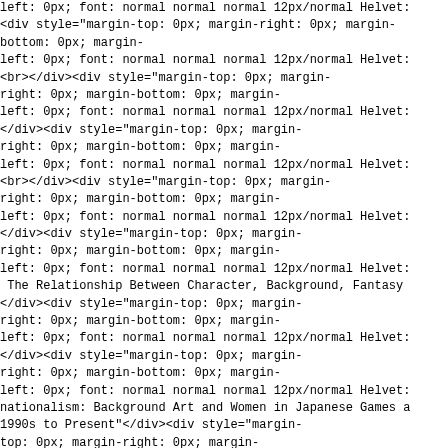left: 0px; font: normal normal normal 12px/normal Helvet:
<div style="margin-top: 0px; margin-right: 0px; margin-bottom: 0px; margin-left: 0px; font: normal normal normal 12px/normal Helvet:
<br></div><div style="margin-top: 0px; margin-right: 0px; margin-bottom: 0px; margin-left: 0px; font: normal normal normal 12px/normal Helvet:
</div><div style="margin-top: 0px; margin-right: 0px; margin-bottom: 0px; margin-left: 0px; font: normal normal normal 12px/normal Helvet:
<br></div><div style="margin-top: 0px; margin-right: 0px; margin-bottom: 0px; margin-left: 0px; font: normal normal normal 12px/normal Helvet:
</div><div style="margin-top: 0px; margin-right: 0px; margin-bottom: 0px; margin-left: 0px; font: normal normal normal 12px/normal Helvet:
 The Relationship Between Character, Background, Fantasy
</div><div style="margin-top: 0px; margin-right: 0px; margin-bottom: 0px; margin-left: 0px; font: normal normal normal 12px/normal Helvet:
</div><div style="margin-top: 0px; margin-right: 0px; margin-bottom: 0px; margin-left: 0px; font: normal normal normal 12px/normal Helvet:
nationalism: Background Art and Women in Japanese Games a
1990s to Present"</div><div style="margin-top: 0px; margin-right: 0px; margin-bottom: 0px; margin-left: 0px; font: normal normal normal 12px/normal Helvet:
top: 0px; margin-right: 0px; margin-bottom: 0px; margin-left: 0px; font: normal normal normal 12px/normal Helvet:
<br></div><div style="margin-top: 0px; margin-right: 0px; margin-bottom: 0px; margin-
left: 0px; font: normal normal normal 12px/normal Helvet: